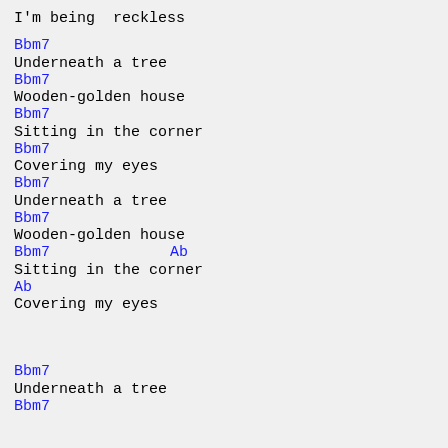I'm being  reckless
Bbm7
Underneath a tree
Bbm7
Wooden-golden house
Bbm7
Sitting in the corner
Bbm7
Covering my eyes
Bbm7
Underneath a tree
Bbm7
Wooden-golden house
Bbm7    Ab
Sitting in the corner
Ab
Covering my eyes
Bbm7
Underneath a tree
Bbm7